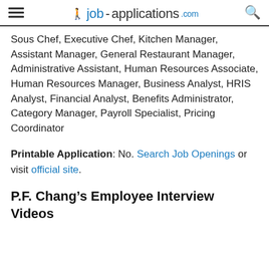job-applications.com
Sous Chef, Executive Chef, Kitchen Manager, Assistant Manager, General Restaurant Manager, Administrative Assistant, Human Resources Associate, Human Resources Manager, Business Analyst, HRIS Analyst, Financial Analyst, Benefits Administrator, Category Manager, Payroll Specialist, Pricing Coordinator
Printable Application: No. Search Job Openings or visit official site.
P.F. Chang’s Employee Interview Videos